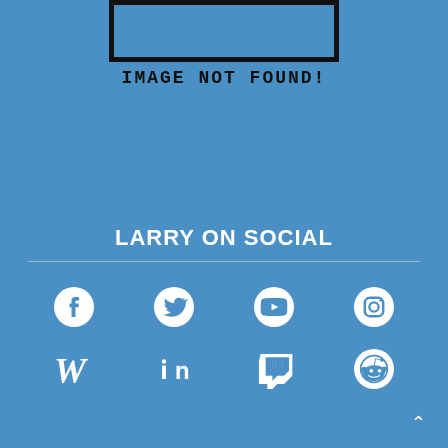[Figure (illustration): Broken image placeholder box (black rectangle outline on blue background)]
IMAGE NOT FOUND!
LARRY ON SOCIAL
[Figure (infographic): Social media icons grid: Facebook, Twitter, YouTube, Instagram, Wikipedia, LinkedIn, Twitch, Reddit]